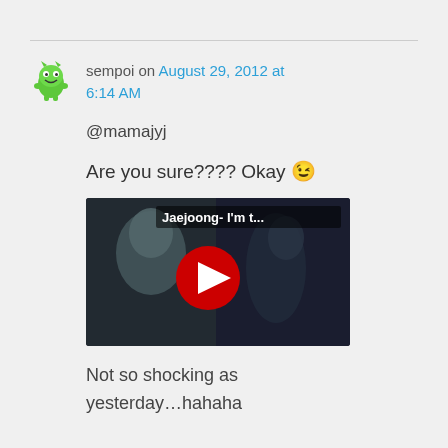sempoi on August 29, 2012 at 6:14 AM
@mamajyj
Are you sure???? Okay 😉
[Figure (screenshot): YouTube video thumbnail showing Jaejoong- I'm t... with red play button]
Not so shocking as yesterday…hahaha
So please do vote for